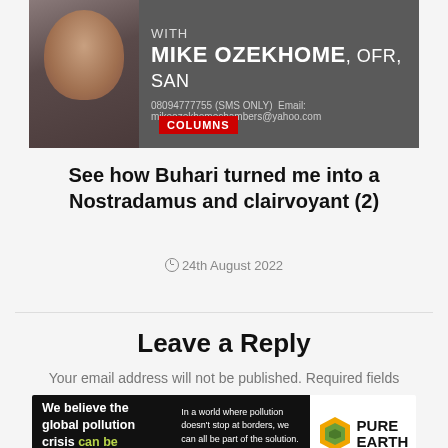[Figure (illustration): Banner header for a newspaper column featuring a photo of Mike Ozekhome and text: WITH MIKE OZEKHOME, OFR, SAN, with phone 08094777755 (SMS ONLY) and email mikeozekhomechambers@yahoo.com. A red COLUMNS label overlays the bottom left.]
See how Buhari turned me into a Nostradamus and clairvoyant (2)
24th August 2022
Leave a Reply
Your email address will not be published. Required fields
[Figure (illustration): Pure Earth advertisement banner with black background on left showing text: We believe the global pollution crisis can be solved. In a world where pollution doesn't stop at borders, we can all be part of the solution. JOIN US. White right section shows Pure Earth logo with diamond/leaf icon.]